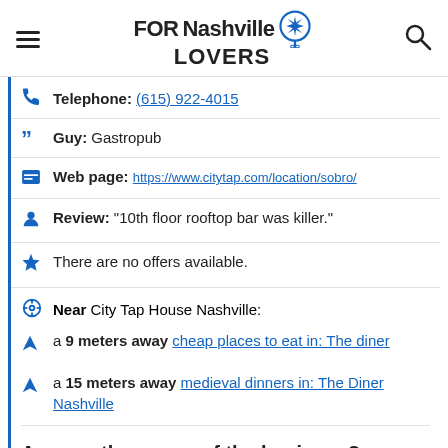FOR Nashville LOVERS
Telephone: (615) 922-4015
Guy: Gastropub
Web page: https://www.citytap.com/location/sobro/
Review: "10th floor rooftop bar was killer."
There are no offers available.
Near City Tap House Nashville:
a 9 meters away cheap places to eat in: The diner
a 15 meters away medieval dinners in: The Diner Nashville
Are you the owner of the business? PROMOTE IT!